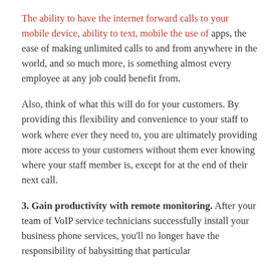The ability to have the internet forward calls to your mobile device, ability to text, mobile the use of apps, the ease of making unlimited calls to and from anywhere in the world, and so much more, is something almost every employee at any job could benefit from.
Also, think of what this will do for your customers. By providing this flexibility and convenience to your staff to work where ever they need to, you are ultimately providing more access to your customers without them ever knowing where your staff member is, except for at the end of their next call.
3. Gain productivity with remote monitoring. After your team of VoIP service technicians successfully install your business phone services, you'll no longer have the responsibility of babysitting that particular...